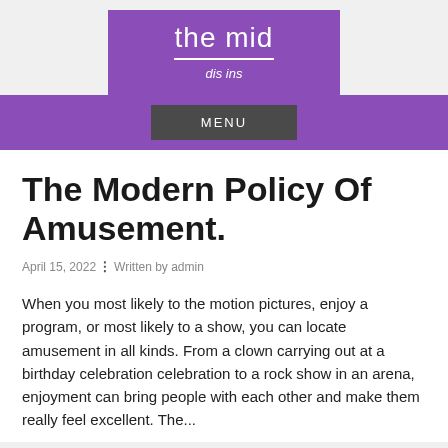the mid
dis ins
MENU
The Modern Policy Of Amusement.
April 15, 2022  ⁘  Written by admin
When you most likely to the motion pictures, enjoy a program, or most likely to a show, you can locate amusement in all kinds. From a clown carrying out at a birthday celebration celebration to a rock show in an arena, enjoyment can bring people with each other and make them really feel excellent. The...